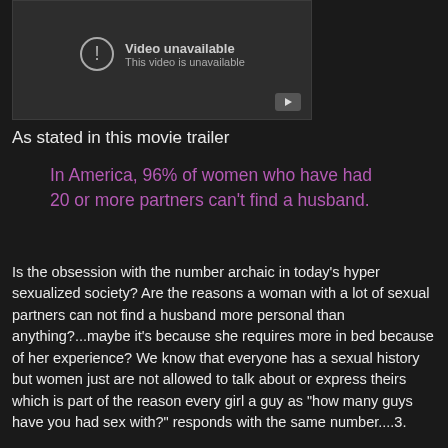[Figure (screenshot): Embedded video player showing 'Video unavailable / This video is unavailable' message with YouTube play button icon]
As stated in this movie trailer
In America, 96% of women who have had 20 or more partners can't find a husband.
Is the obsession with the number archaic in today's hyper sexualized society? Are the reasons a woman with a lot of sexual partners can not find a husband more personal than anything?...maybe it's because she requires more in bed because of her experience? We know that everyone has a sexual history but women just are not allowed to talk about or express theirs which is part of the reason every girl a guy as "how many guys have you had sex with?" responds with the same number....3.